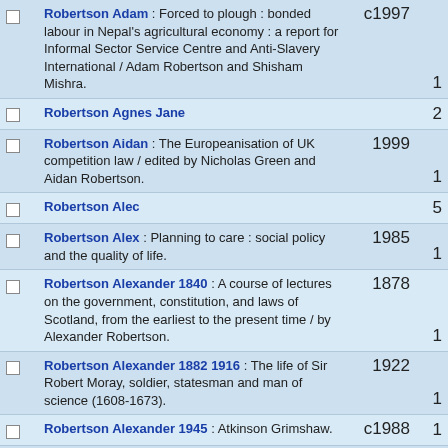|  | Entry | Year | Count |
| --- | --- | --- | --- |
| ☐ | Robertson Adam : Forced to plough : bonded labour in Nepal's agricultural economy : a report for Informal Sector Service Centre and Anti-Slavery International / Adam Robertson and Shisham Mishra. | c1997 | 1 |
| ☐ | Robertson Agnes Jane |  | 2 |
| ☐ | Robertson Aidan : The Europeanisation of UK competition law / edited by Nicholas Green and Aidan Robertson. | 1999 | 1 |
| ☐ | Robertson Alec |  | 5 |
| ☐ | Robertson Alex : Planning to care : social policy and the quality of life. | 1985 | 1 |
| ☐ | Robertson Alexander 1840 : A course of lectures on the government, constitution, and laws of Scotland, from the earliest to the present time / by Alexander Robertson. | 1878 | 1 |
| ☐ | Robertson Alexander 1882 1916 : The life of Sir Robert Moray, soldier, statesman and man of science (1608-1673). | 1922 | 1 |
| ☐ | Robertson Alexander 1945 : Atkinson Grimshaw. | c1988 | 1 |
| ☐ | Robertson Alexander Art Curator : The irresistible object : still life, 1600-1985. | 1985 | 1 |
| ☐ | Robertson Alexander J : The bleak midwinter 1947. | 1987 | 1 |